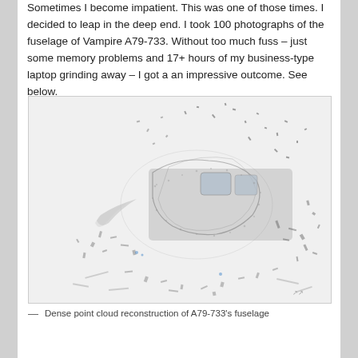Sometimes I become impatient. This was one of those times. I decided to leap in the deep end. I took 100 photographs of the fuselage of Vampire A79-733. Without too much fuss – just some memory problems and 17+ hours of my business-type laptop grinding away – I got a an impressive outcome. See below.
[Figure (photo): Dense point cloud reconstruction of the fuselage of Vampire A79-733. The image shows a complex 3D point cloud rendering of an aircraft fuselage with noise/artifacts surrounding it, appearing as a dense mass of grey and silver points forming the cockpit and body structure of the aircraft.]
— Dense point cloud reconstruction of A79-733's fuselage